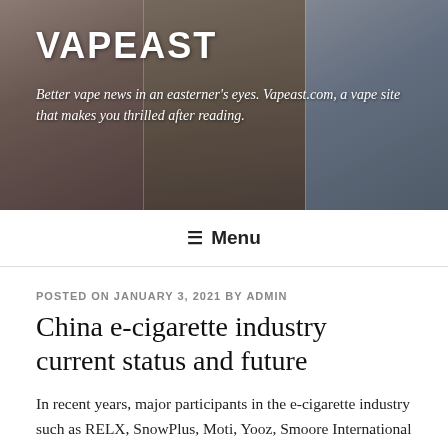VAPEAST
Better vape news in an easterner's eyes. Vapeast.com, a vape site that makes you thrilled after reading.
≡ Menu
POSTED ON JANUARY 3, 2021 BY ADMIN
China e-cigarette industry current status and future
In recent years, major participants in the e-cigarette industry such as RELX, SnowPlus, Moti, Yooz, Smoore International have enjoyed the dividends brought about by the rapid development of the industry. However, since e-cigarettes were banned from online sales on November 1 last year in China, rumors about e-cigarettes